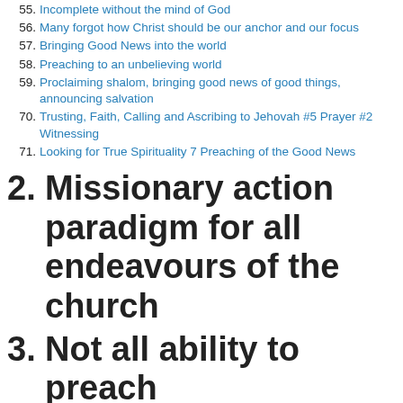55. Incomplete without the mind of God
56. Many forgot how Christ should be our anchor and our focus
57. Bringing Good News into the world
58. Preaching to an unbelieving world
59. Proclaiming shalom, bringing good news of good things, announcing salvation
70. Trusting, Faith, Calling and Ascribing to Jehovah #5 Prayer #2 Witnessing
71. Looking for True Spirituality 7 Preaching of the Good News
2. Missionary action paradigm for all endeavours of the church
3. Not all ability to preach
74. Breathing to teach